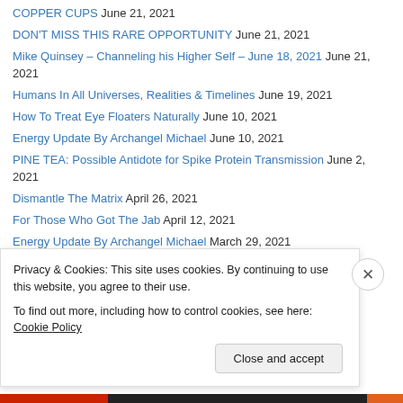COPPER CUPS June 21, 2021
DON'T MISS THIS RARE OPPORTUNITY June 21, 2021
Mike Quinsey – Channeling his Higher Self – June 18, 2021 June 21, 2021
Humans In All Universes, Realities & Timelines June 19, 2021
How To Treat Eye Floaters Naturally June 10, 2021
Energy Update By Archangel Michael June 10, 2021
PINE TEA: Possible Antidote for Spike Protein Transmission June 2, 2021
Dismantle The Matrix April 26, 2021
For Those Who Got The Jab April 12, 2021
Energy Update By Archangel Michael March 29, 2021
Saint Germain March 15, 2021
You are the Truth by Saint Germain March 12, 2021
Privacy & Cookies: This site uses cookies. By continuing to use this website, you agree to their use. To find out more, including how to control cookies, see here: Cookie Policy